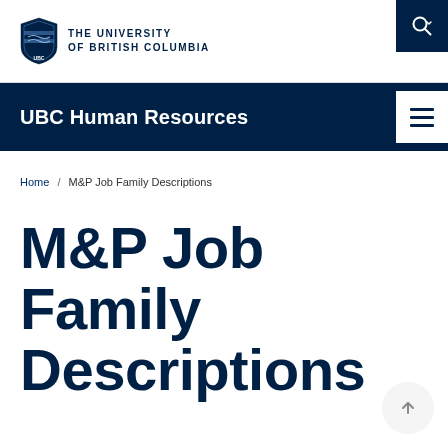[Figure (logo): UBC shield logo and wordmark: THE UNIVERSITY OF BRITISH COLUMBIA]
UBC Human Resources
Home / M&P Job Family Descriptions
M&P Job Family Descriptions